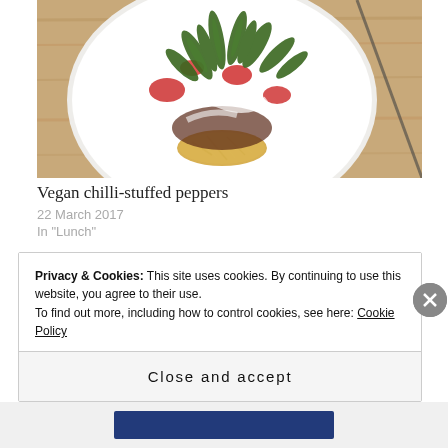[Figure (photo): A white plate topped with a salad featuring fresh arugula, sliced red tomatoes, and shredded cheese, viewed from above on a wooden surface]
Vegan chilli-stuffed peppers
22 March 2017
In "Lunch"
Privacy & Cookies: This site uses cookies. By continuing to use this website, you agree to their use.
To find out more, including how to control cookies, see here: Cookie Policy
Close and accept